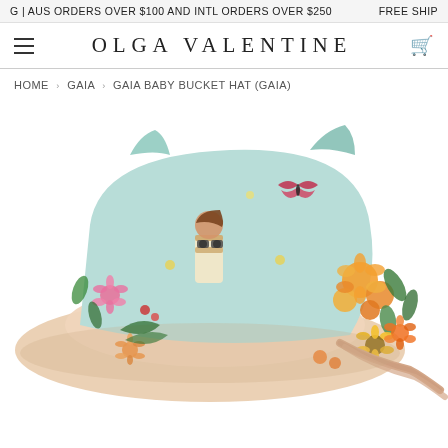G | AUS ORDERS OVER $100 AND INTL ORDERS OVER $250   FREE SHIP
OLGA VALENTINE
HOME › GAIA › GAIA BABY BUCKET HAT (GAIA)
[Figure (photo): A baby bucket hat with a colourful floral and artistic print featuring a girl in a garden with flowers, butterflies, and sunflowers. The hat has wide brim and chin straps, shown from an angle against a white background.]